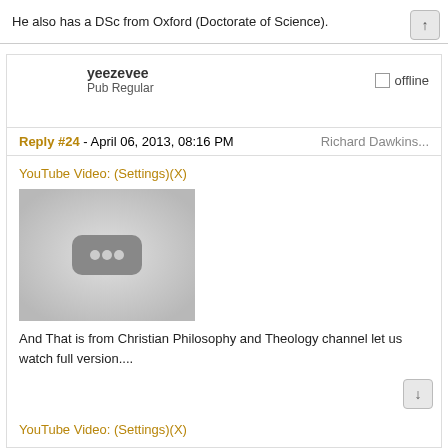He also has a DSc from Oxford (Doctorate of Science).
yeezevee
Pub Regular
offline
Reply #24 - April 06, 2013, 08:16 PM    Richard Dawkins...
YouTube Video: (Settings)(X)
[Figure (other): YouTube video thumbnail placeholder with three dots icon on gray background]
And That is from  Christian Philosophy and Theology channel  let us watch full version....
YouTube Video: (Settings)(X)